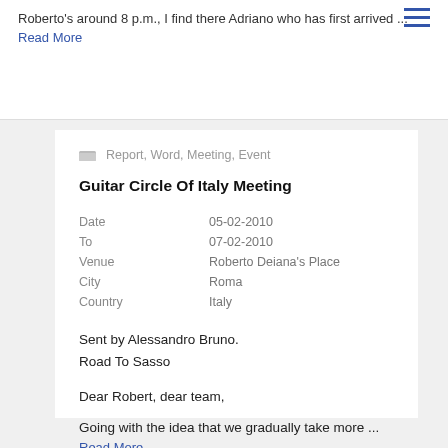Roberto's around 8 p.m., I find there Adriano who has first arrived ... Read More
Report, Word, Meeting, Event
Guitar Circle Of Italy Meeting
| Date | 05-02-2010 |
| To | 07-02-2010 |
| Venue | Roberto Deiana's Place |
| City | Roma |
| Country | Italy |
Sent by Alessandro Bruno.
Road To Sasso
Dear Robert, dear team,
Going with the idea that we gradually take more ... Read More